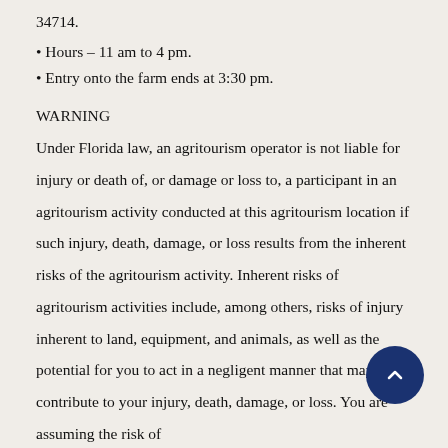34714.
• Hours – 11 am to 4 pm.
• Entry onto the farm ends at 3:30 pm.
WARNING
Under Florida law, an agritourism operator is not liable for injury or death of, or damage or loss to, a participant in an agritourism activity conducted at this agritourism location if such injury, death, damage, or loss results from the inherent risks of the agritourism activity. Inherent risks of agritourism activities include, among others, risks of injury inherent to land, equipment, and animals, as well as the potential for you to act in a negligent manner that may contribute to your injury, death, damage, or loss. You are assuming the risk of